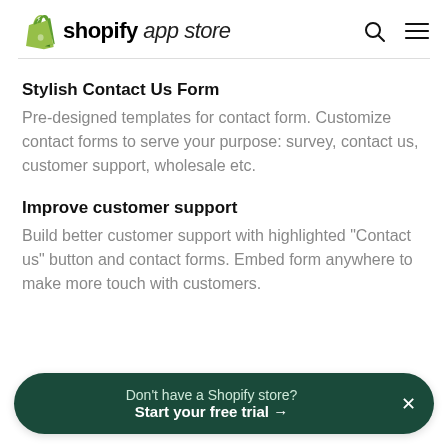shopify app store
Stylish Contact Us Form
Pre-designed templates for contact form. Customize contact forms to serve your purpose: survey, contact us, customer support, wholesale etc.
Improve customer support
Build better customer support with highlighted "Contact us" button and contact forms. Embed form anywhere to make more touch with customers.
Don't have a Shopify store? Start your free trial →